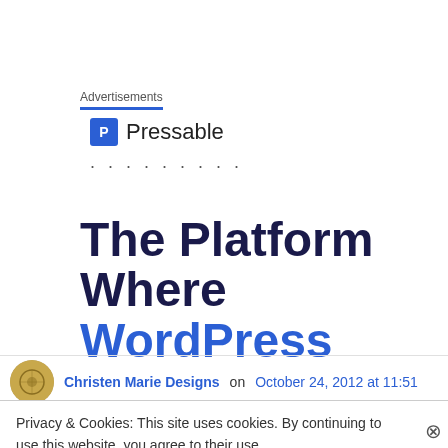Advertisements
[Figure (logo): Pressable logo with blue square P icon and 'Pressable' text, followed by dots]
The Platform Where WordPress
Christen Marie Designs on October 24, 2012 at 11:51
Privacy & Cookies: This site uses cookies. By continuing to use this website, you agree to their use. To find out more, including how to control cookies, see here: Cookie Policy